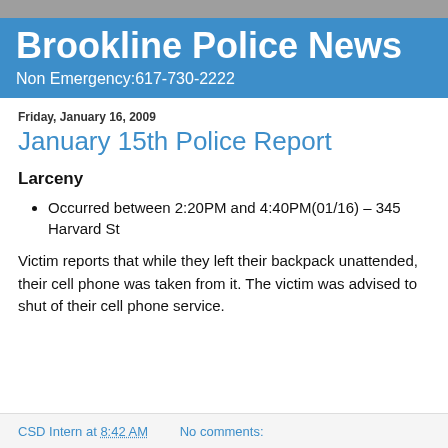Brookline Police News
Non Emergency:617-730-2222
Friday, January 16, 2009
January 15th Police Report
Larceny
Occurred between 2:20PM and 4:40PM(01/16) – 345 Harvard St
Victim reports that while they left their backpack unattended, their cell phone was taken from it. The victim was advised to shut of their cell phone service.
CSD Intern at 8:42 AM   No comments: